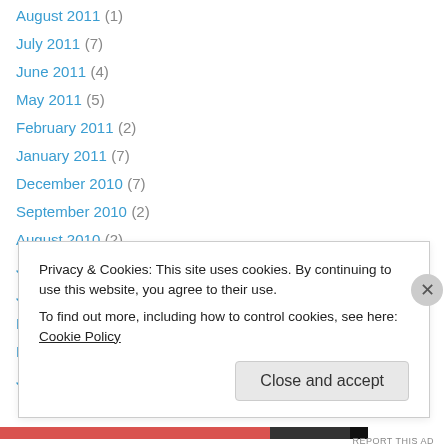August 2011 (1)
July 2011 (7)
June 2011 (4)
May 2011 (5)
February 2011 (2)
January 2011 (7)
December 2010 (7)
September 2010 (2)
August 2010 (2)
July 2010 (3)
June 2010 (4)
March 2010 (3)
February 2010 (5)
January 2010 (5)
Privacy & Cookies: This site uses cookies. By continuing to use this website, you agree to their use.
To find out more, including how to control cookies, see here: Cookie Policy
Close and accept